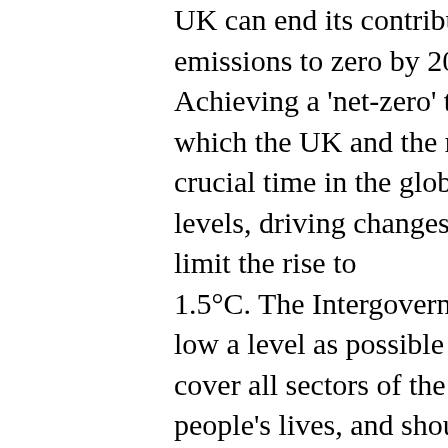UK can end its contribution to global warming within its emissions to zero by 2050. Ten years after the Climate Achieving a 'net-zero' target by the middle of the centu which the UK and the rest of the world signed in 2015 crucial time in the global effort to tackle climate chang levels, driving changes in our climate that are apparent limit the rise to 1.5°C. The Intergovernmental Panel on Climate Chang low a level as possible and the need for deep and rapid cover all sectors of the UK, Scottish and Welsh econom people's lives, and should be put into law as soon as po The Report's suggestions on aviation are scant and wea alternatives to polluting kerosene to power planes. Air 2035." The report advocates frequent flyers — the 15 p down on long-haul travel". The allusion to the off-setti Kaye, who has argued for some time it can off-set its C Torygraph article from 2nd May "Heathrow is flying th